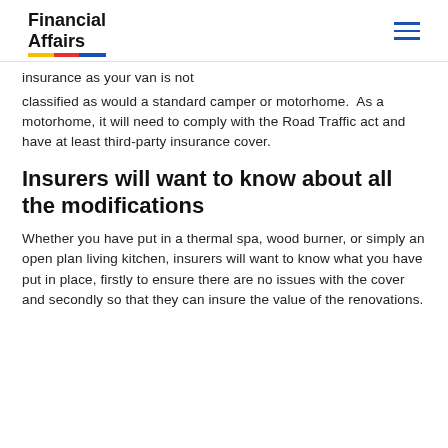Financial Affairs
insurance as your van is not
classified as would a standard camper or motorhome.  As a motorhome, it will need to comply with the Road Traffic act and have at least third-party insurance cover.
Insurers will want to know about all the modifications
Whether you have put in a thermal spa, wood burner, or simply an open plan living kitchen, insurers will want to know what you have put in place, firstly to ensure there are no issues with the cover and secondly so that they can insure the value of the renovations.